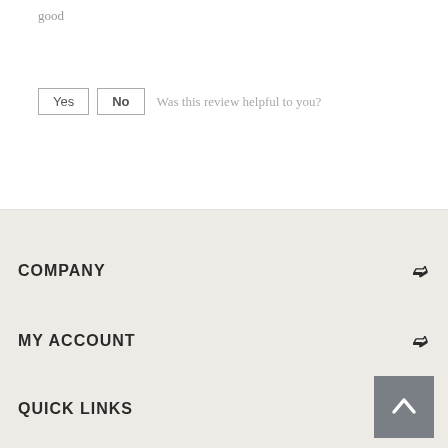good
Yes  No  Was this review helpful to you?
COMPANY
MY ACCOUNT
QUICK LINKS